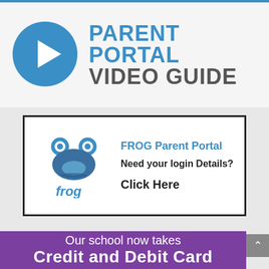[Figure (illustration): Parent Portal Video Guide banner with blue play button circle and text reading PARENT PORTAL VIDEO GUIDE]
[Figure (logo): FROG Parent Portal advertisement box with frog logo, text: FROG Parent Portal, Need your login Details?, Click Here]
Our school now takes Credit and Debit Card